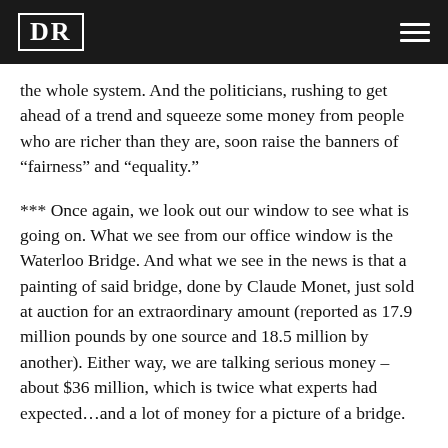DR
the whole system. And the politicians, rushing to get ahead of a trend and squeeze some money from people who are richer than they are, soon raise the banners of “fairness” and “equality.”
*** Once again, we look out our window to see what is going on. What we see from our office window is the Waterloo Bridge. And what we see in the news is that a painting of said bridge, done by Claude Monet, just sold at auction for an extraordinary amount (reported as 17.9 million pounds by one source and 18.5 million by another). Either way, we are talking serious money – about $36 million, which is twice what experts had expected…and a lot of money for a picture of a bridge.